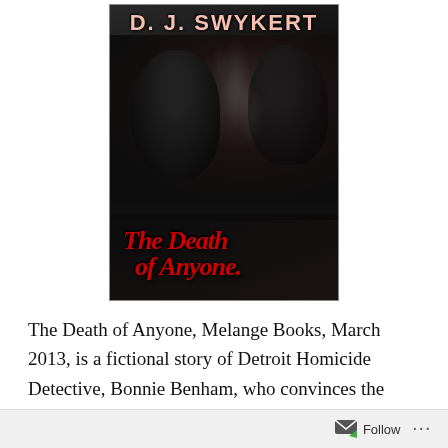[Figure (illustration): Book cover for 'The Death of Anyone' by D.J. Swykert. Dark moody cover with shadowy figures and smoke, author name in pale pink/red at top, book title in large red dripping horror-style text at bottom.]
The Death of Anyone, Melange Books, March 2013, is a fictional story of Detroit Homicide Detective, Bonnie Benham, who convinces the District Attorney to allow a Familial DNA search as she investigates the murder of
Follow ...